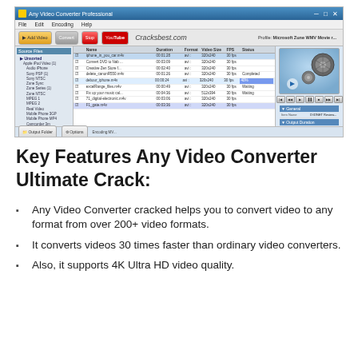[Figure (screenshot): Screenshot of Any Video Converter Professional software interface showing the Cracksbest.com watermark, file list with video files being converted, preview panel with film reel graphic, and properties panel on the right.]
Key Features Any Video Converter Ultimate Crack:
Any Video Converter cracked helps you to convert video to any format from over 200+ video formats.
It converts videos 30 times faster than ordinary video converters.
Also, it supports 4K Ultra HD video quality.